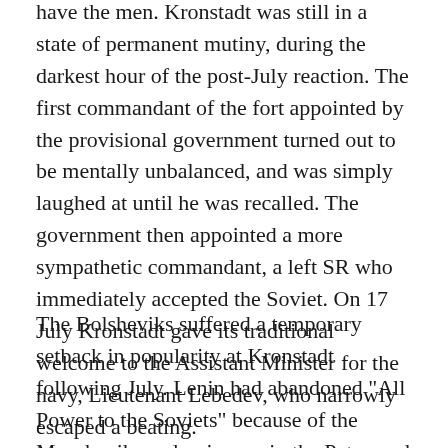have the men. Kronstadt was still in a state of permanent mutiny, during the darkest hour of the post-July reaction. The first commandant of the fort appointed by the provisional government turned out to be mentally unbalanced, and was simply laughed at until he was recalled. The government then appointed a more sympathetic commandant, a left SR who immediately accepted the Soviet. On 17 July Kronstadt gave its traditional welcome to the Assistant Minister for the navy, Lieutenant Lebedev, who narrowly escaped a beating.
The Bolsheviks suffered a temporary setback in popularity at Kronstadt following July. Lenin had abandoned "All Power to the Soviets" because of the Menshevik predominance in the Petrograd Soviet. This slogan was taken up by the Union of SR-Maximalists. However, he reintroduced it when his